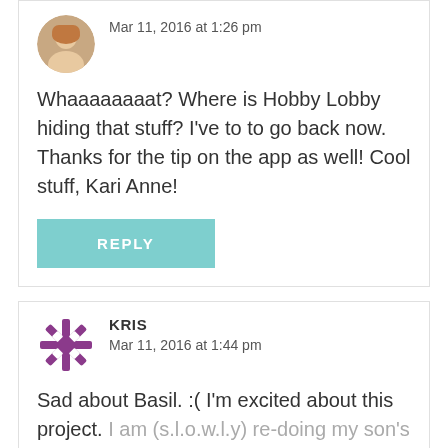Mar 11, 2016 at 1:26 pm
Whaaaaaaaat? Where is Hobby Lobby hiding that stuff? I've to to go back now. Thanks for the tip on the app as well! Cool stuff, Kari Anne!
REPLY
KRIS
Mar 11, 2016 at 1:44 pm
Sad about Basil. :( I'm excited about this project. I am (s.l.o.w.l.y) re-doing my son's room to be more teen-friendly. While I would